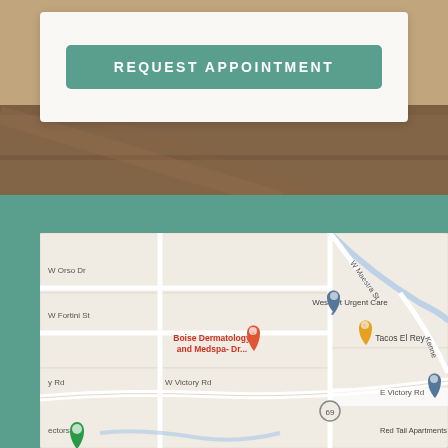[Figure (screenshot): White card with teal 'REQUEST APPOINTMENT' button on a wood-textured background]
[Figure (map): Google Maps screenshot showing Boise Dermatology and Medspa location near W Victory Rd and surrounding streets including W Orso Dr, W Fortini St, E Victory Rd, with pins for WestVet Urgent Care, Tacos El Rey, Victory GREEN Emissions, 2M, Red Tail Apartments, and a green pin for the clinic location]